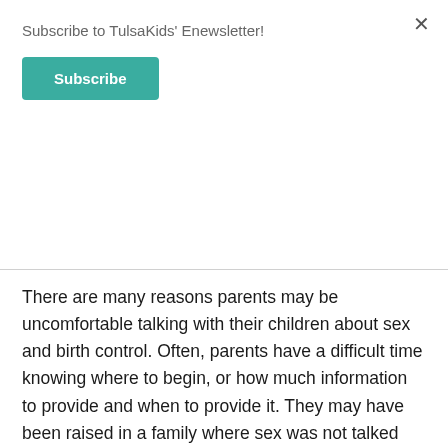Subscribe to TulsaKids' Enewsletter!
Subscribe
There are many reasons parents may be uncomfortable talking with their children about sex and birth control. Often, parents have a difficult time knowing where to begin, or how much information to provide and when to provide it. They may have been raised in a family where sex was not talked about.
Parents can approach informing their children about relationships, sex and birth control in much the same way that they communicate about other issues such as health. Instead of “the talk,” parents are encouraged to approach sex education as a